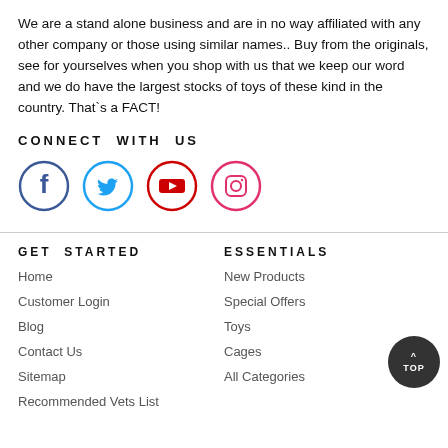We are a stand alone business and are in no way affiliated with any other company or those using similar names.. Buy from the originals, see for yourselves when you shop with us that we keep our word and we do have the largest stocks of toys of these kind in the country. That`s a FACT!
CONNECT WITH US
[Figure (illustration): Four social media icons in circles: Facebook (dark blue), Twitter (light blue), YouTube (red), Instagram (red/pink gradient outline)]
GET STARTED
ESSENTIALS
Home
New Products
Customer Login
Special Offers
Blog
Toys
Contact Us
Cages
Sitemap
All Categories
Recommended Vets List